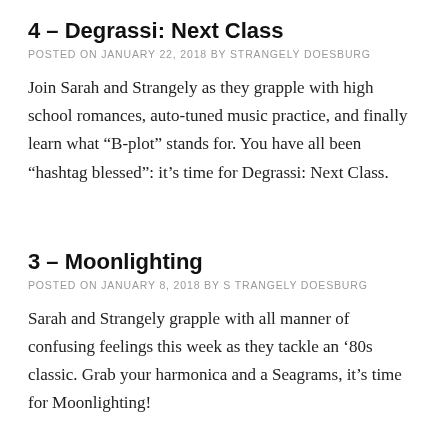4 – Degrassi: Next Class
POSTED ON JANUARY 22, 2018 BY STRANGELY DOESBURG
Join Sarah and Strangely as they grapple with high school romances, auto-tuned music practice, and finally learn what “B-plot” stands for. You have all been “hashtag blessed”: it’s time for Degrassi: Next Class.
3 – Moonlighting
POSTED ON JANUARY 8, 2018 BY STRANGELY DOESBURG
Sarah and Strangely grapple with all manner of confusing feelings this week as they tackle an ‘80s classic. Grab your harmonica and a Seagrams, it’s time for Moonlighting!